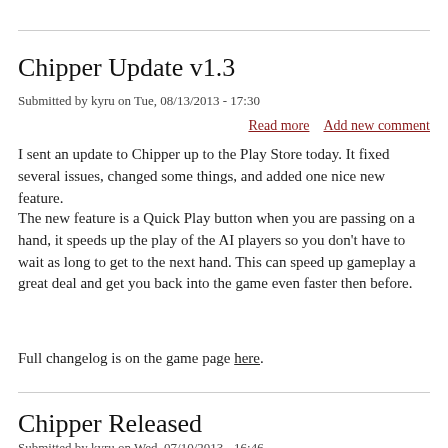Chipper Update v1.3
Submitted by kyru on Tue, 08/13/2013 - 17:30
Read more   Add new comment
I sent an update to Chipper up to the Play Store today. It fixed several issues, changed some things, and added one nice new feature.
The new feature is a Quick Play button when you are passing on a hand, it speeds up the play of the AI players so you don't have to wait as long to get to the next hand. This can speed up gameplay a great deal and get you back into the game even faster then before.
Full changelog is on the game page here.
Chipper Released
Submitted by kyru on Wed, 07/10/2013 - 16:46